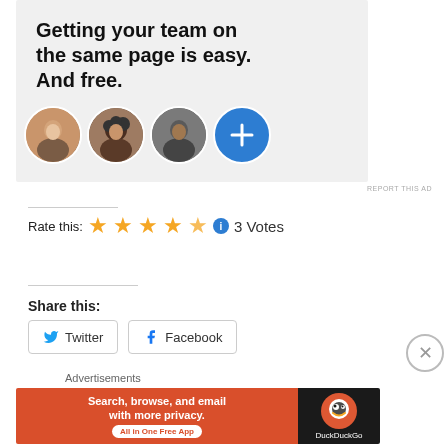[Figure (screenshot): Advertisement banner showing 'Getting your team on the same page is easy. And free.' with three circular profile photos and a blue plus button]
REPORT THIS AD
Rate this: ★★★★½ ⓘ 3 Votes
Share this:
Twitter   Facebook
Advertisements
[Figure (screenshot): DuckDuckGo advertisement: 'Search, browse, and email with more privacy. All in One Free App' with DuckDuckGo logo]